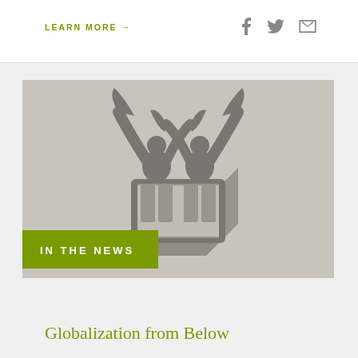LEARN MORE →
[Figure (logo): Two stylized human figures with arms raised, overlapping, depicted in dark grey on a light grey background, forming a logo-like illustration. A green rectangle in the lower-left contains the text 'IN THE NEWS'.]
Globalization from Below